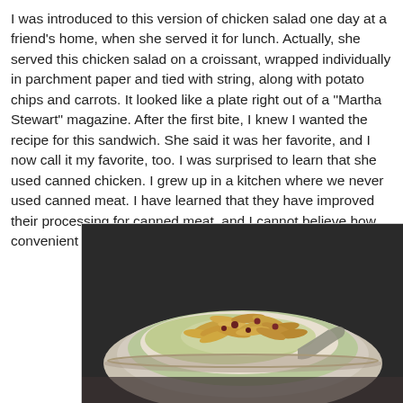I was introduced to this version of chicken salad one day at a friend's home, when she served it for lunch. Actually, she served this chicken salad on a croissant, wrapped individually in parchment paper and tied with string, along with potato chips and carrots. It looked like a plate right out of a "Martha Stewart" magazine. After the first bite, I knew I wanted the recipe for this sandwich. She said it was her favorite, and I now call it my favorite, too. I was surprised to learn that she used canned chicken. I grew up in a kitchen where we never used canned meat. I have learned that they have improved their processing for canned meat, and I cannot believe how convenient it is.
[Figure (photo): A white bowl containing chicken salad topped with sliced almonds and what appears to be dried cranberries, with a spoon visible in the bowl.]